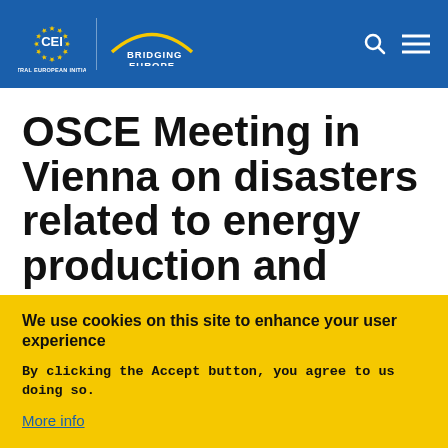[Figure (logo): CEI Central European Initiative logo with circle of gold stars on blue background and 'Bridging Europe Since 1989' tagline]
OSCE Meeting in Vienna on disasters related to energy production and transport
We use cookies on this site to enhance your user experience
By clicking the Accept button, you agree to us doing so.
More info